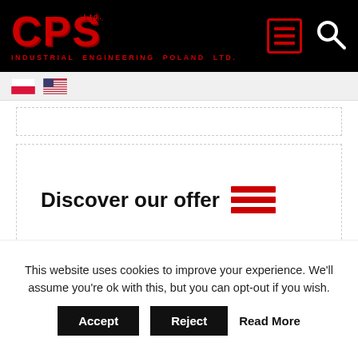[Figure (logo): CPS Industrial Engineering Poland Ltd. logo in red on black background with menu and search icons]
[Figure (other): Language flag selector showing Polish and US flags]
[Figure (other): Empty dashed border box (widget placeholder)]
Discover our offer
Cadet
This website uses cookies to improve your experience. We'll assume you're ok with this, but you can opt-out if you wish.